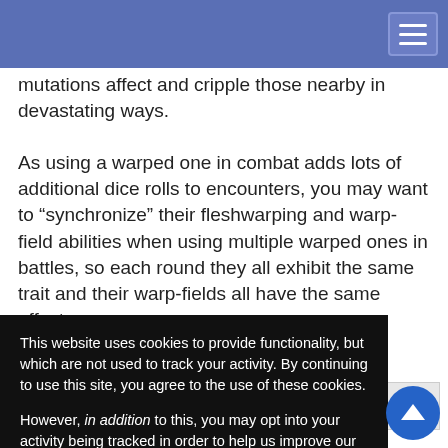mutations affect and cripple those nearby in devastating ways.
As using a warped one in combat adds lots of additional dice rolls to encounters, you may want to “synchronize” their fleshwarping and warp-field abilities when using multiple warped ones in battles, so each round they all exhibit the same trait and their warp-fields all have the same effect.
350 pounds.
© 2013, Paizo — n Keith, Jason
[Figure (screenshot): Cookie consent overlay popup with black background. Text reads: 'This website uses cookies to provide functionality, but which are not used to track your activity. By continuing to use this site, you agree to the use of these cookies. However, in addition to this, you may opt into your activity being tracked in order to help us improve our service. For more information, please click here' with OK and No, thank you buttons.]